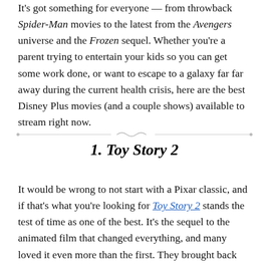It's got something for everyone — from throwback Spider-Man movies to the latest from the Avengers universe and the Frozen sequel. Whether you're a parent trying to entertain your kids so you can get some work done, or want to escape to a galaxy far far away during the current health crisis, here are the best Disney Plus movies (and a couple shows) available to stream right now.
1. Toy Story 2
It would be wrong to not start with a Pixar classic, and if that's what you're looking for Toy Story 2 stands the test of time as one of the best. It's the sequel to the animated film that changed everything, and many loved it even more than the first. They brought back